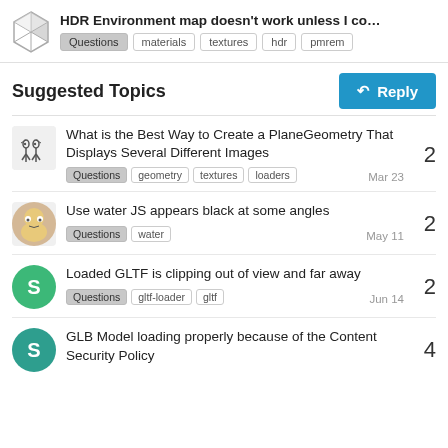HDR Environment map doesn't work unless I co… | Questions | materials | textures | hdr | pmrem
Suggested Topics
What is the Best Way to Create a PlaneGeometry That Displays Several Different Images | Questions geometry textures loaders | Mar 23 | 2
Use water JS appears black at some angles | Questions water | May 11 | 2
Loaded GLTF is clipping out of view and far away | Questions gltf-loader gltf | Jun 14 | 2
GLB Model loading properly because of the Content Security Policy | 4